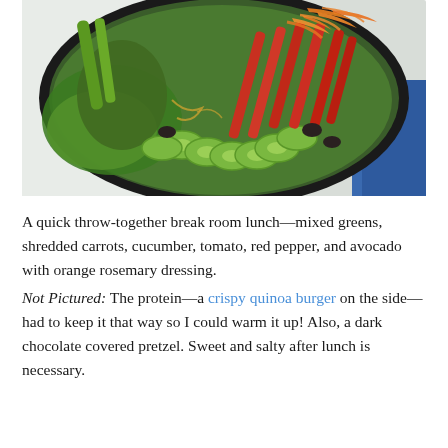[Figure (photo): Overhead photo of a salad bowl with mixed greens, sliced cucumbers, shredded carrots, red pepper strips, and other vegetables in a black bowl on a light surface with a blue cloth visible.]
A quick throw-together break room lunch—mixed greens, shredded carrots, cucumber, tomato, red pepper, and avocado with orange rosemary dressing. Not Pictured: The protein—a crispy quinoa burger on the side—had to keep it that way so I could warm it up! Also, a dark chocolate covered pretzel. Sweet and salty after lunch is necessary.